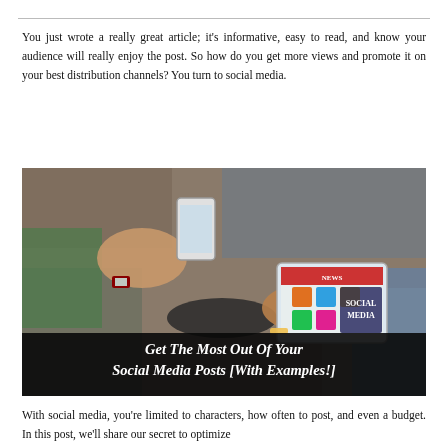You just wrote a really great article; it's informative, easy to read, and know your audience will really enjoy the post. So how do you get more views and promote it on your best distribution channels? You turn to social media.
[Figure (photo): Overhead view of people sitting on the ground, one holding a smartphone and another holding a tablet displaying 'SOCIAL MEDIA'. The image has a dark banner overlay at the bottom with italic bold white text reading 'Get The Most Out Of Your Social Media Posts [With Examples!]']
With social media, you're limited to characters, how often to post, and even a budget. In this post, we'll share our secret to optimize